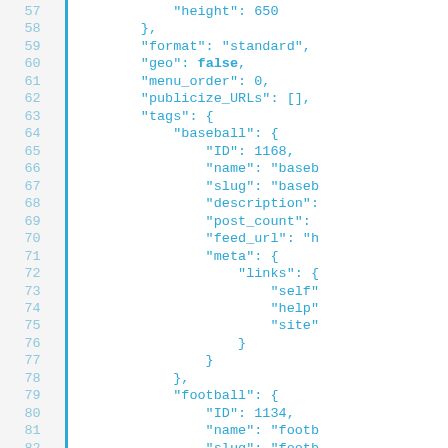Code listing lines 57-82 showing JSON structure with fields: height, format, geo, menu_order, publicize_URLs, tags (baseball with ID, name, slug, description, post_count, feed_url, meta with links self/help/site), football with ID, name, slug